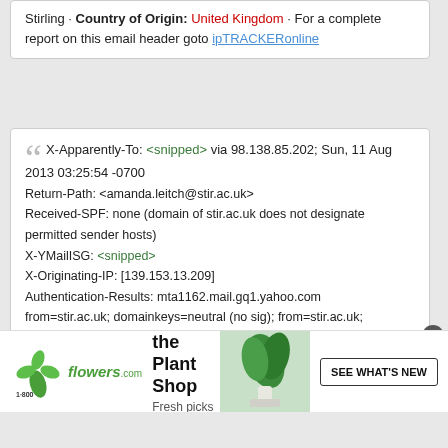Stirling · Country of Origin: United Kingdom · For a complete report on this email header goto ipTRACKERonline
X-Apparently-To: <snipped> via 98.138.85.202; Sun, 11 Aug 2013 03:25:54 -0700
Return-Path: <amanda.leitch@stir.ac.uk>
Received-SPF: none (domain of stir.ac.uk does not designate permitted sender hosts)
X-YMailISG: <snipped>
X-Originating-IP: [139.153.13.209]
Authentication-Results: mta1162.mail.gq1.yahoo.com
from=stir.ac.uk; domainkeys=neutral (no sig); from=stir.ac.uk; dkim=neutral (no sig)
Received: from 127.0.0.1 (EHLO mailrelay1.stir.ac.uk)
(139.153.13.209)
[Figure (infographic): 1-800-flowers.com advertisement banner: Now in the Plant Shop. Fresh picks for summer. SEE WHAT'S NEW button. Plant photo on right.]